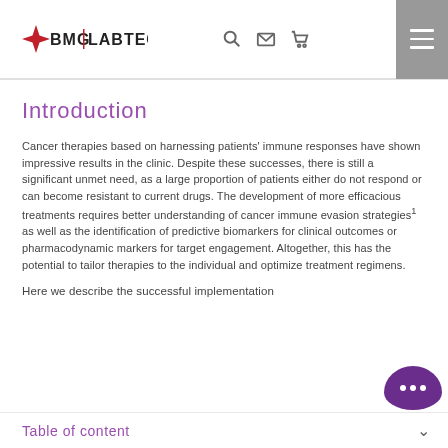BMG LABTECH
Introduction
Cancer therapies based on harnessing patients' immune responses have shown impressive results in the clinic. Despite these successes, there is still a significant unmet need, as a large proportion of patients either do not respond or can become resistant to current drugs. The development of more efficacious treatments requires better understanding of cancer immune evasion strategies¹ as well as the identification of predictive biomarkers for clinical outcomes or pharmacodynamic markers for target engagement. Altogether, this has the potential to tailor therapies to the individual and optimize treatment regimens.
Here we describe the successful implementation
Table of content